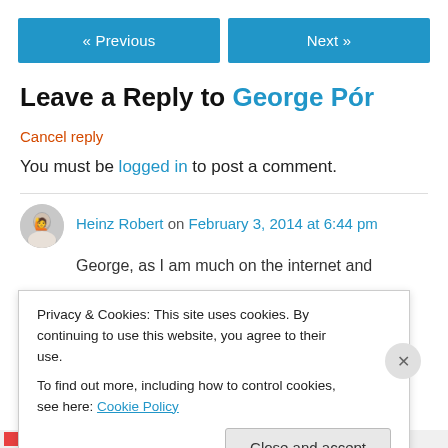« Previous   Next »
Leave a Reply to George Pór
Cancel reply
You must be logged in to post a comment.
Heinz Robert on February 3, 2014 at 6:44 pm
George, as I am much on the internet and
Privacy & Cookies: This site uses cookies. By continuing to use this website, you agree to their use.
To find out more, including how to control cookies, see here: Cookie Policy